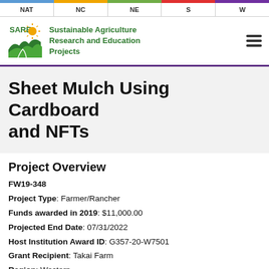NAT | NC | NE | S | W
[Figure (logo): SARE logo with green field and sun, beside text: Sustainable Agriculture Research and Education Projects]
Sheet Mulch Using Cardboard and NFTs
Project Overview
FW19-348
Project Type: Farmer/Rancher
Funds awarded in 2019: $11,000.00
Projected End Date: 07/31/2022
Host Institution Award ID: G357-20-W7501
Grant Recipient: Takai Farm
Region: Western
State: Guam
Principal Investigator: